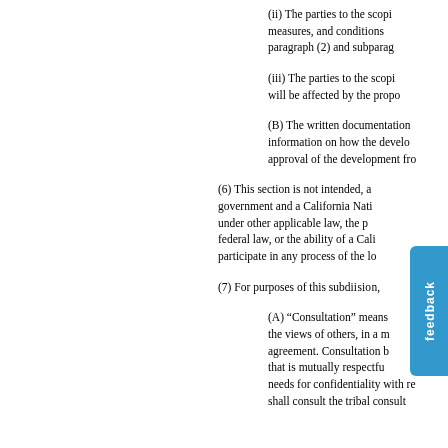(ii) The parties to the scoping measures, and conditions paragraph (2) and subparag
(iii) The parties to the scopi will be affected by the propo
(B) The written documentation information on how the develo approval of the development fro
(6) This section is not intended, a government and a California Nati under other applicable law, the p federal law, or the ability of a Cali participate in any process of the lo
(7) For purposes of this subdi
(A) “Consultation” means the views of others, in a m agreement. Consultation b that is mutually respectfu needs for confidentiality with re shall consult the tribal consult